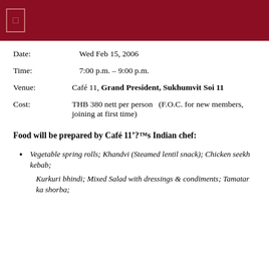Date:    Wed Feb 15, 2006
Time:    7:00 p.m. – 9:00 p.m.
Venue:   Café 11, Grand President, Sukhumvit Soi 11
Cost:    THB 380 nett per person   (F.O.C. for new members, joining at first time)
Food will be prepared by Café 11’s Indian chef:
Vegetable spring rolls; Khandvi (Steamed lentil snack); Chicken seekh kebab;
Kurkuri bhindi; Mixed Salad with dressings & condiments; Tamatar ka shorba;